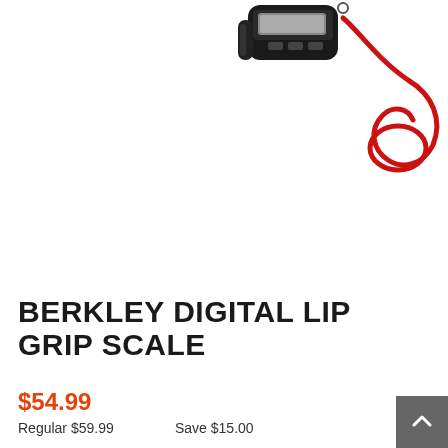[Figure (photo): Berkley Digital Lip Grip Scale product photo showing a black handheld digital scale device with a red wrist lanyard, viewed from above-right angle]
BERKLEY DIGITAL LIP GRIP SCALE
$54.99
Regular $59.99    Save $15.00